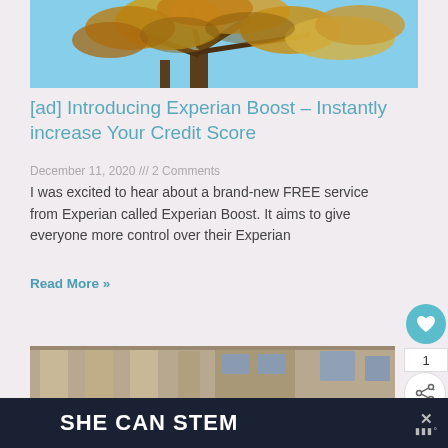[Figure (photo): Autumn tree with yellow-orange leaves against a blue sky, photo cropped at top of page]
[ad] Introducing Experian Boost – Instantly increase Your Credit Score
December 11, 2020 /// 2 Comments
I was excited to hear about a brand-new FREE service from Experian called Experian Boost. It aims to give everyone more control over their Experian
Read More »
[Figure (photo): Stone building exterior photo, partial view at bottom of page]
[Figure (infographic): SHE CAN STEM banner ad in dark navy background with white bold text and X close button with logo]